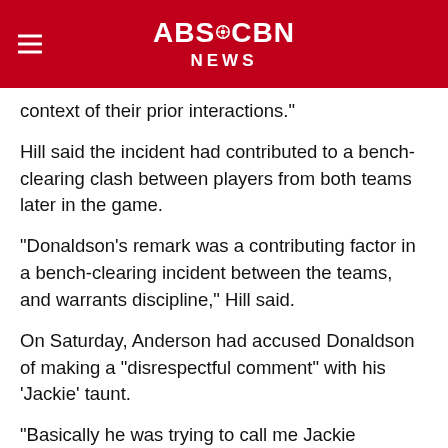ABS-CBN NEWS
context of their prior interactions."
Hill said the incident had contributed to a bench-clearing clash between players from both teams later in the game.
"Donaldson's remark was a contributing factor in a bench-clearing incident between the teams, and warrants discipline," Hill said.
On Saturday, Anderson had accused Donaldson of making a "disrespectful comment" with his 'Jackie' taunt.
"Basically he was trying to call me Jackie Robinson. 'What's up, Jackie?' I don't play like that," Anderson told reporters.
"I wasn't really going to bother nobody today, but he